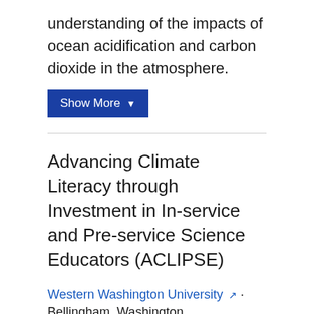understanding of the impacts of ocean acidification and carbon dioxide in the atmosphere.
Show More ▼
Advancing Climate Literacy through Investment in In-service and Pre-service Science Educators (ACLIPSE)
Western Washington University · Bellingham, Washington
Funding: $31,192
Year: 2014
This three-year project leverages